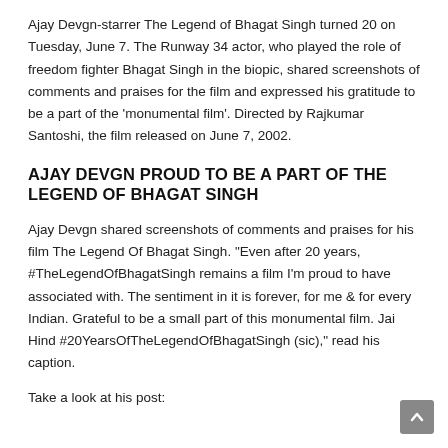Ajay Devgn-starrer The Legend of Bhagat Singh turned 20 on Tuesday, June 7. The Runway 34 actor, who played the role of freedom fighter Bhagat Singh in the biopic, shared screenshots of comments and praises for the film and expressed his gratitude to be a part of the 'monumental film'. Directed by Rajkumar Santoshi, the film released on June 7, 2002.
AJAY DEVGN PROUD TO BE A PART OF THE LEGEND OF BHAGAT SINGH
Ajay Devgn shared screenshots of comments and praises for his film The Legend Of Bhagat Singh. "Even after 20 years, #TheLegendOfBhagatSingh remains a film I'm proud to have associated with. The sentiment in it is forever, for me & for every Indian. Grateful to be a small part of this monumental film. Jai Hind #20YearsOfTheLegendOfBhagatSingh (sic)," read his caption.
Take a look at his post: